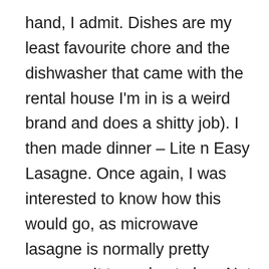hand, I admit.  Dishes are my least favourite chore and the dishwasher that came with the rental house I'm in is a weird brand and does a shitty job).  I then made dinner – Lite n Easy Lasagne.  Once again, I was interested to know how this would go, as microwave lasagne is normally pretty average.  It turned out okay.  Not as nice as my previous two meals as the lasagne was a little soft and soggy (as expected without any oven baking), however it tasted nice apart from that.  It was also the lowest in calories of the four meals I've had thus far, which was a pleasant surprise.